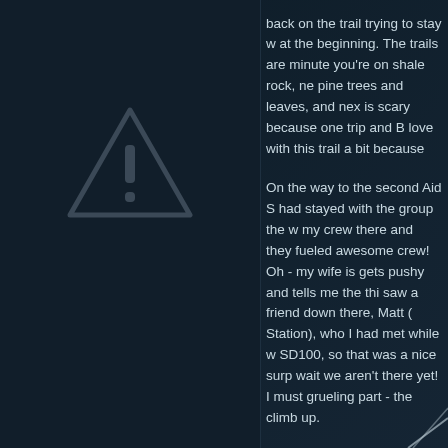[Figure (illustration): Warning/caution triangle icon with exclamation mark, semi-transparent gray outline on dark background]
back on the trail trying to stay w at the beginning. The trails are minute you're on shale rock, ne pine trees and leaves, and nex is scary because one trip and B love with this trail a bit because
On the way to the second Aid S had stayed with the group the w my crew there and they fueled awesome crew! Oh - my wife is gets pushy and tells me the thi saw a friend down there, Matt ( Station), who I had met while w SD100, so that was a nice surp wait we aren't there yet! I must grueling part - the climb up.